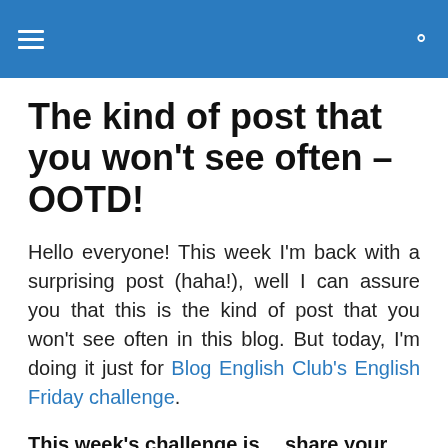≡  🔍
The kind of post that you won't see often – OOTD!
Hello everyone! This week I'm back with a surprising post (haha!), well I can assure you that this is the kind of post that you won't see often in this blog. But today, I'm doing it just for Blog English Club's English Friday challenge.
This week's challenge is… share your Outfit of the day (OOTD) picture!
Oh well, here's mine :